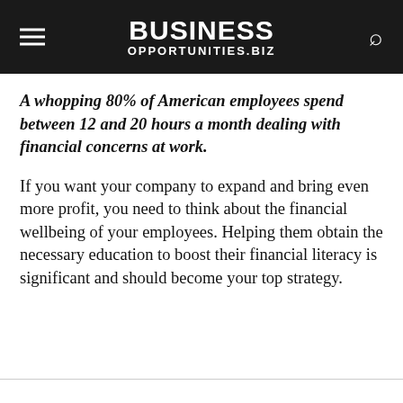BUSINESS OPPORTUNITIES.BIZ
A whopping 80% of American employees spend between 12 and 20 hours a month dealing with financial concerns at work.
If you want your company to expand and bring even more profit, you need to think about the financial wellbeing of your employees. Helping them obtain the necessary education to boost their financial literacy is significant and should become your top strategy.